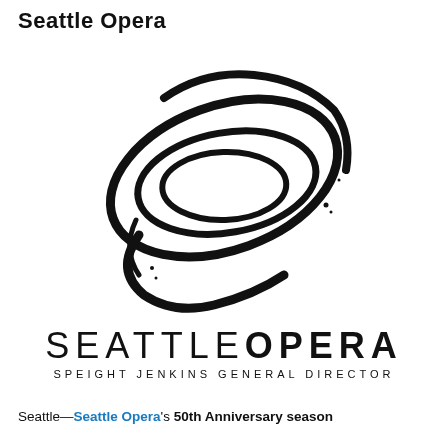Seattle Opera
[Figure (logo): Seattle Opera logo: an abstract brushstroke design forming overlapping elliptical rings resembling an eye or a globe, rendered in black ink with a calligraphic style.]
SEATTLE OPERA
SPEIGHT JENKINS GENERAL DIRECTOR
Seattle—Seattle Opera's 50th Anniversary season